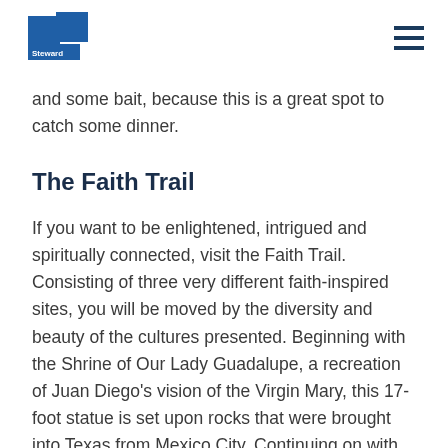Steward
and some bait, because this is a great spot to catch some dinner.
The Faith Trail
If you want to be enlightened, intrigued and spiritually connected, visit the Faith Trail. Consisting of three very different faith-inspired sites, you will be moved by the diversity and beauty of the cultures presented. Beginning with the Shrine of Our Lady Guadalupe, a recreation of Juan Diego's vision of the Virgin Mary, this 17-foot statue is set upon rocks that were brought into Texas from Mexico City. Continuing on with the trail, you will reach the Vietnamese Martyr's Catholic Church & Queen of Peace Shrine and